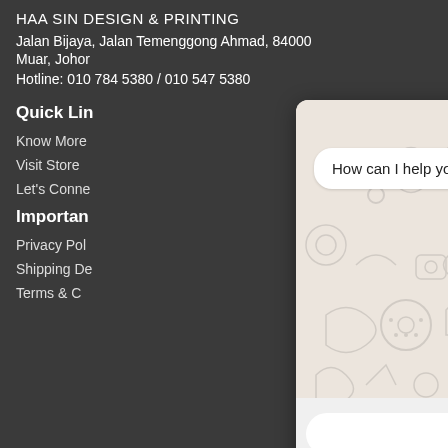HAA SIN DESIGN & PRINTING
Jalan Bijaya, Jalan Temenggong Ahmad, 84000 Muar, Johor
Hotline: 010 784 5380 / 010 547 5380
Quick Links
Know More
Visit Store
Let's Connect
Important
Privacy Policy
Shipping Details
Terms & Conditions
[Figure (screenshot): WhatsApp chat popup widget with message 'How can I help you? :)' on WhatsApp doodle background, close button (x) top right, text input field and green send button at bottom]